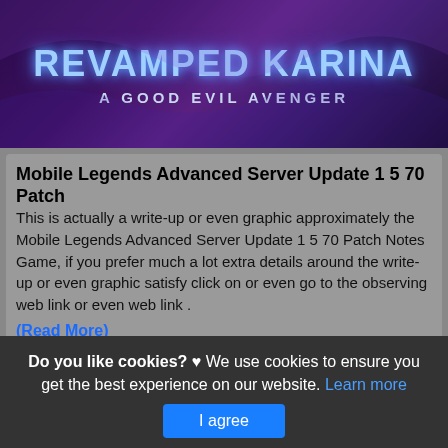[Figure (illustration): Game promotional image with text 'REVAMPED KARINA' and 'A GOOD EVIL AVENGER' on a dark purple fantasy background]
Mobile Legends Advanced Server Update 1 5 70 Patch
This is actually a write-up or even graphic approximately the Mobile Legends Advanced Server Update 1 5 70 Patch Notes Game, if you prefer much a lot extra details around the write-up or even graphic satisfy click on or even go to the observing web link or even web link .
(Read More)
Source: www.ldplayer.net Visit Web
[Figure (screenshot): Mobile Legends Bang Bang game screenshot showing game art with Legends Bang Bang logo in the top left corner]
Do you like cookies? ♥ We use cookies to ensure you get the best experience on our website. Learn more  I agree